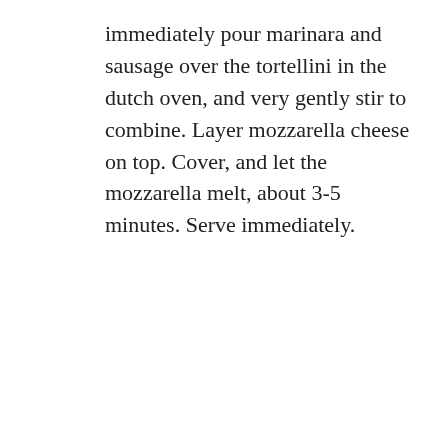immediately pour marinara and sausage over the tortellini in the dutch oven, and very gently stir to combine. Layer mozzarella cheese on top. Cover, and let the mozzarella melt, about 3-5 minutes. Serve immediately.